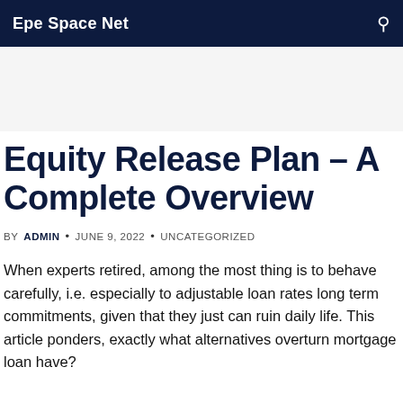Epe Space Net
Equity Release Plan – A Complete Overview
BY ADMIN • JUNE 9, 2022 • UNCATEGORIZED
When experts retired, among the most thing is to behave carefully, i.e. especially to adjustable loan rates long term commitments, given that they just can ruin daily life. This article ponders, exactly what alternatives overturn mortgage loan have?